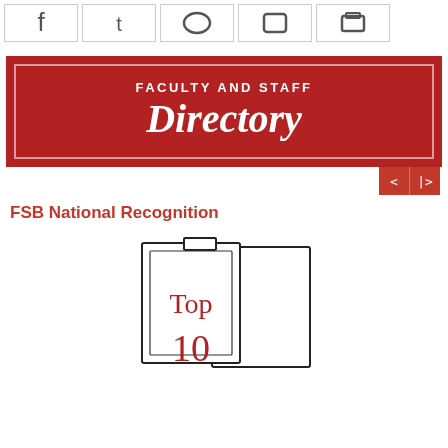[Figure (screenshot): Top navigation icon strip showing 5 icon boxes with partial icons visible at top of page]
[Figure (illustration): Red banner with white border reading FACULTY AND STAFF Directory with navigation arrows]
FSB National Recognition
[Figure (illustration): Shield/badge outline illustration with 'Top 10' text in red serif font]